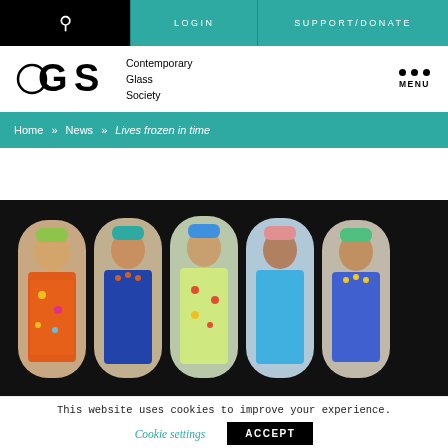LOGIN  SUPPORT/DONATE
[Figure (logo): Contemporary Glass Society logo with CGS letters and circle]
Home » News » Lives frozen in time
[Figure (photo): Five decorative glass artworks showing figures in colorful traditional costumes set in arch-shaped frames against a black background]
This website uses cookies to improve your experience.
Cookie settings   ACCEPT